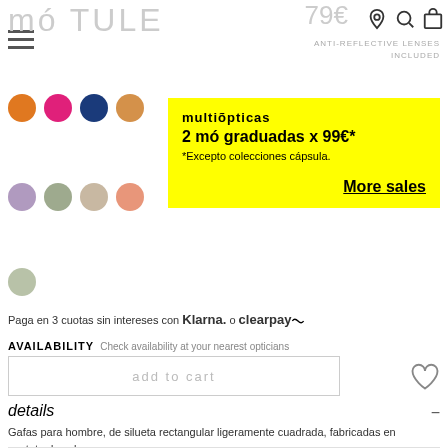mó TULE
ANTI-REFLECTIVE LENSES INCLUDED
[Figure (other): Color selection dots: orange, pink, dark blue, light orange, purple, sage green, beige, salmon, light green]
[Figure (infographic): Multiópticas yellow promo box: 2 mó graduadas x 99€* *Excepto colecciones cápsula. More sales]
Paga en 3 cuotas sin intereses con Klarna. o clearpay
AVAILABILITY  Check availability at your nearest opticians
add to cart
details
Gafas para hombre, de silueta rectangular ligeramente cuadrada, fabricadas en acetato de color negro.